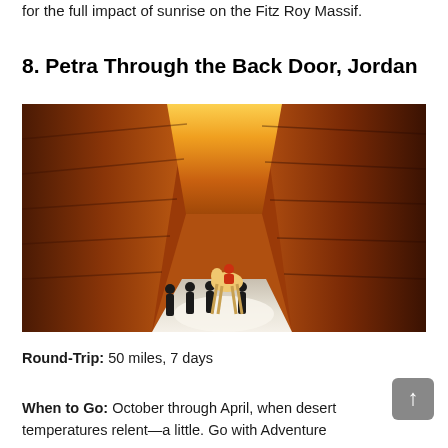for the full impact of sunrise on the Fitz Roy Massif.
8. Petra Through the Back Door, Jordan
[Figure (photo): Photo of Petra's Siq canyon in Jordan, showing towering red and orange sandstone walls with sunlight streaming through the narrow passage. Several people and a camel/horse with rider are visible as small silhouettes at the bottom of the canyon.]
Round-Trip: 50 miles, 7 days
When to Go: October through April, when desert temperatures relent—a little. Go with Adventure